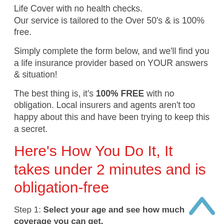Life Cover with no health checks.
Our service is tailored to the Over 50's & is 100% free.
Simply complete the form below, and we'll find you a life insurance provider based on YOUR answers & situation!
The best thing is, it's 100% FREE with no obligation. Local insurers and agents aren't too happy about this and have been trying to keep this a secret.
Here's How You Do It, It takes under 2 minutes and is obligation-free
Step 1: Select your age and see how much coverage you can get.
Step 2: Answer a few questions (take less than a minute) and Cover Over 50™ will present you with